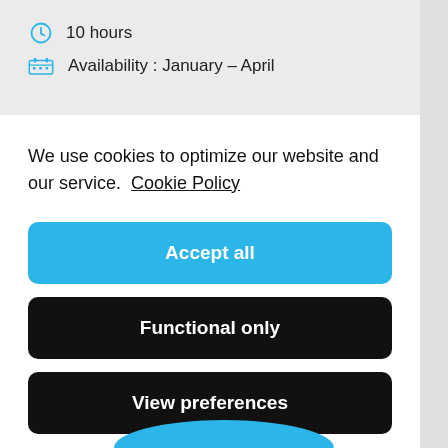10 hours
Availability : January – April
We use cookies to optimize our website and our service.  Cookie Policy
Accept all
Functional only
View preferences